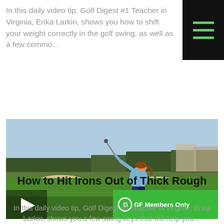In this daily video tip, Golf Digest #1 Teacher in Virginia, Erika Larkin, shows you how to shift your weight correctly in the golf swing, as well as a few commo…
[Figure (photo): A woman golfer (Erika Larkin) mid-swing on a golf course with trees and bunkers in the background. A play button overlay is in the bottom-left. A green 'GF Members Only' badge is in the bottom-right.]
How to Hit Irons Out of Thick Rough
In this daily video tip, Golf Digest #1 Teacher in Virginia, Erika Larkin, shows you a few swing keys that will help you…